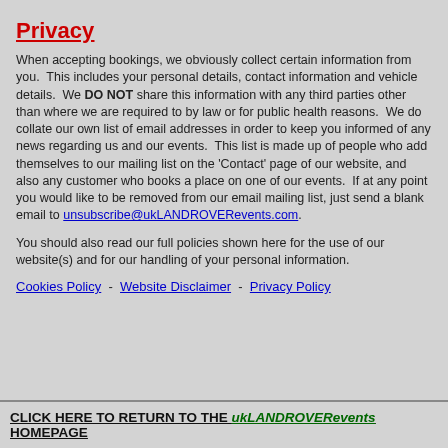Privacy
When accepting bookings, we obviously collect certain information from you.  This includes your personal details, contact information and vehicle details.  We DO NOT share this information with any third parties other than where we are required to by law or for public health reasons.  We do collate our own list of email addresses in order to keep you informed of any news regarding us and our events.  This list is made up of people who add themselves to our mailing list on the 'Contact' page of our website, and also any customer who books a place on one of our events.  If at any point you would like to be removed from our email mailing list, just send a blank email to unsubscribe@ukLANDROVERevents.com.
You should also read our full policies shown here for the use of our website(s) and for our handling of your personal information.
Cookies Policy  -  Website Disclaimer  -  Privacy Policy
CLICK HERE TO RETURN TO THE ukLANDROVERevents HOMEPAGE